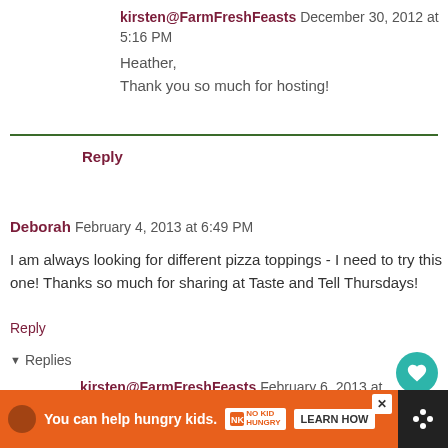kirsten@FarmFreshFeasts December 30, 2012 at 5:16 PM
Heather,
Thank you so much for hosting!
Reply
Deborah February 4, 2013 at 6:49 PM
I am always looking for different pizza toppings - I need to try this one! Thanks so much for sharing at Taste and Tell Thursdays!
Reply
Replies
kirsten@FarmFreshFeasts February 6, 2013 at PM
You can help hungry kids. NO KID HUNGRY LEARN HOW